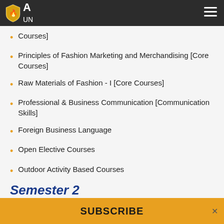AMIT University navigation header
Courses]
Principles of Fashion Marketing and Merchandising [Core Courses]
Raw Materials of Fashion - I [Core Courses]
Professional & Business Communication [Communication Skills]
Foreign Business Language
Open Elective Courses
Outdoor Activity Based Courses
Semester 2